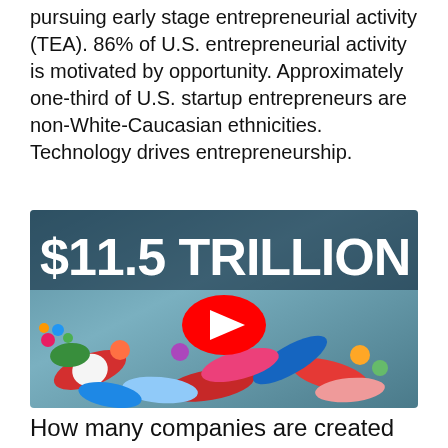pursuing early stage entrepreneurial activity (TEA). 86% of U.S. entrepreneurial activity is motivated by opportunity. Approximately one-third of U.S. startup entrepreneurs are non-White-Caucasian ethnicities. Technology drives entrepreneurship.
[Figure (photo): YouTube video thumbnail showing a pile of colorful pharmaceutical capsules/pills with bold white text '$11.5 TRILLION' and a red YouTube play button in the center.]
How many companies are created every day?